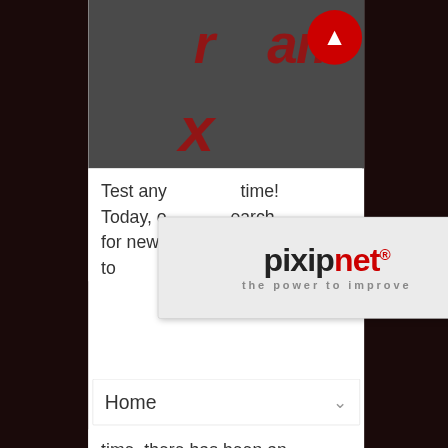[Figure (screenshot): Screenshot of a mobile website showing the xroam logo at top on a dark red/grey background, with a pixipnet overlay popup logo in the middle, a Home dropdown menu, body text about mobile operators and revenue reduction, and at the bottom the xsmart logo.]
Test any ... time! Today, o...earch for new sources of revenue and to
time, there has been an immense pressure on mobile operators to offer their services with better conditions. This has resulted in a massive reduction in their revenue.
Read more ...
[Figure (logo): xsmart logo with arc brackets, red X, and the word 'smart' in grey italic, with navigation dots below including one red filled dot]